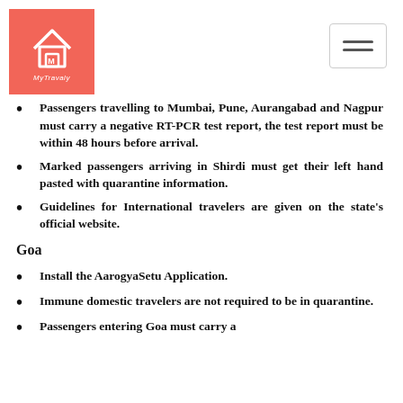[Figure (logo): MyTravaly logo — salmon/coral colored square with a house icon and text]
Passengers travelling to Mumbai, Pune, Aurangabad and Nagpur must carry a negative RT-PCR test report, the test report must be within 48 hours before arrival.
Marked passengers arriving in Shirdi must get their left hand pasted with quarantine information.
Guidelines for International travelers are given on the state's official website.
Goa
Install the AarogyaSetu Application.
Immune domestic travelers are not required to be in quarantine.
Passengers entering Goa must carry a